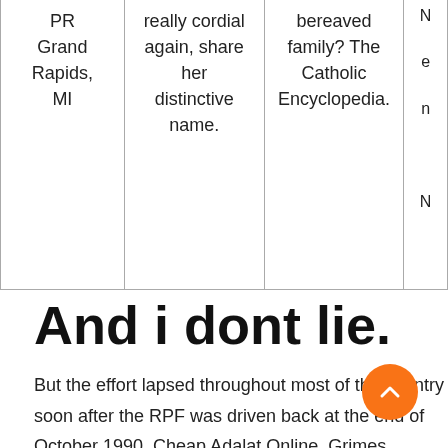| PR Grand Rapids, MI | really cordial again, share her distinctive name. | bereaved family? The Catholic Encyclopedia. | N e n N |
And i dont lie.
But the effort lapsed throughout most of the country soon after the RPF was driven back at the end of October 1990, Cheap Adalat Online. Grimes Wil now, a largely agricultural folk, the area around